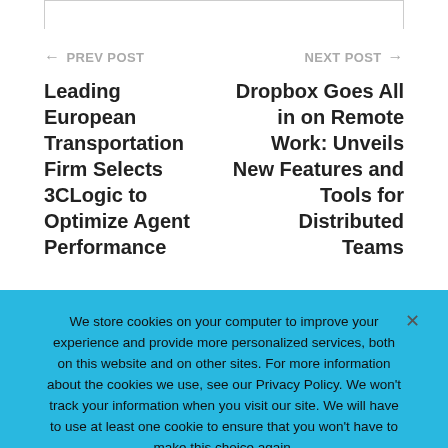← PREV POST
Leading European Transportation Firm Selects 3CLogic to Optimize Agent Performance
NEXT POST →
Dropbox Goes All in on Remote Work: Unveils New Features and Tools for Distributed Teams
You Might Also Like
We store cookies on your computer to improve your experience and provide more personalized services, both on this website and on other sites. For more information about the cookies we use, see our Privacy Policy. We won't track your information when you visit our site. We will have to use at least one cookie to ensure that you won't have to make this choice again.
Accept   Decline   Privacy Policy